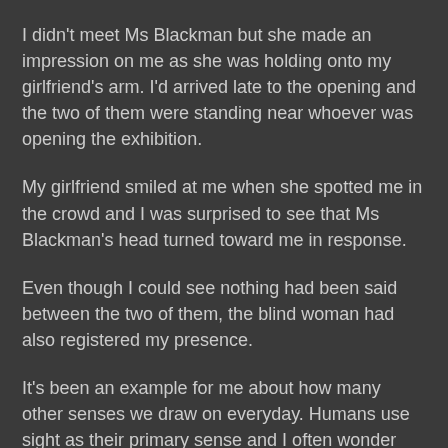I didn't meet Ms Blackman but she made an impression on me as she was holding onto my girlfriend's arm. I'd arrived late to the opening and the two of them were standing near whoever was opening the exhibition.
My girlfriend smiled at me when she spotted me in the crowd and I was surprised to see that Ms Blackman's head turned toward me in response.
Even though I could see nothing had been said between the two of them, the blind woman had also registered my presence.
It's been an example for me about how many other senses we draw on everyday. Humans use sight as their primary sense and I often wonder whether it's a detriment that we don't better use others.
Encouragement is the theme articulated by Barbara Blackman in the quote above and if she hadn't made an impression on me at that exhibition opening I might've